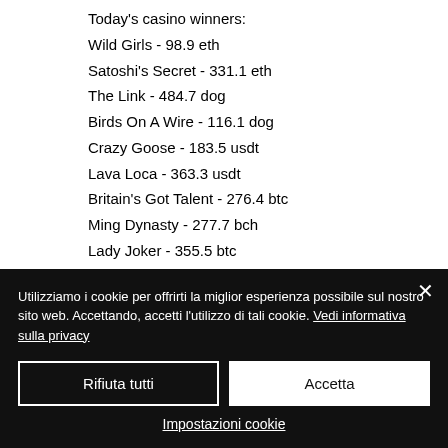Today's casino winners:
Wild Girls - 98.9 eth
Satoshi's Secret - 331.1 eth
The Link - 484.7 dog
Birds On A Wire - 116.1 dog
Crazy Goose - 183.5 usdt
Lava Loca - 363.3 usdt
Britain's Got Talent - 276.4 btc
Ming Dynasty - 277.7 bch
Lady Joker - 355.5 btc
Vegas Nights - 416.4 bch
Wild Gambler 2 Arctic Adventure - 342.9 eth
King Colossus - 696.1 ltc
Utilizziamo i cookie per offrirti la miglior esperienza possibile sul nostro sito web. Accettando, accetti l'utilizzo di tali cookie. Vedi informativa sulla privacy
Rifiuta tutti
Accetta
Impostazioni cookie